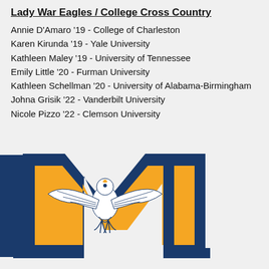Lady War Eagles / College Cross Country
Annie D'Amaro '19 - College of Charleston
Karen Kirunda '19 - Yale University
Kathleen Maley '19 - University of Tennessee
Emily Little '20 - Furman University
Kathleen Schellman '20 - University of Alabama-Birmingham
Johna Grisik '22 - Vanderbilt University
Nicole Pizzo '22 - Clemson University
[Figure (logo): School mascot logo: an eagle with spread wings overlaid on a large letter M in navy blue with gold fill, on a light gray background.]